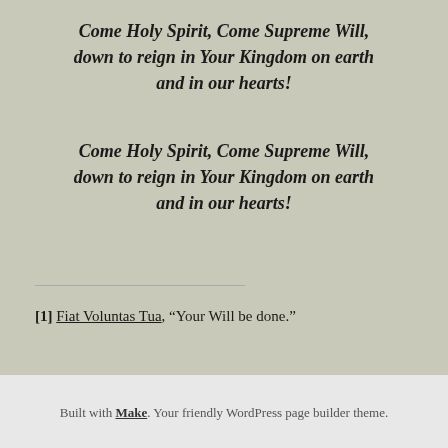Come Holy Spirit, Come Supreme Will, down to reign in Your Kingdom on earth and in our hearts!
Come Holy Spirit, Come Supreme Will, down to reign in Your Kingdom on earth and in our hearts!
[1] Fiat Voluntas Tua, “Your Will be done.”
Built with Make. Your friendly WordPress page builder theme.